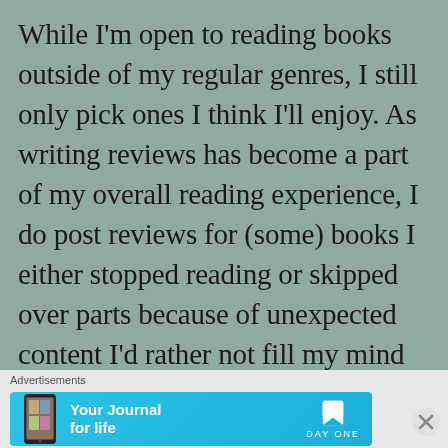While I'm open to reading books outside of my regular genres, I still only pick ones I think I'll enjoy. As writing reviews has become a part of my overall reading experience, I do post reviews for (some) books I either stopped reading or skipped over parts because of unexpected content I'd rather not fill my mind with. However, I don't post those reviews on retail sites or on my blog–only on Goodreads. In those reviews, I share my honest thoughts/experience as a
[Figure (other): Advertisement banner for Day One journal app with blue background, phone image, text 'Your Journal for life', and Day One logo]